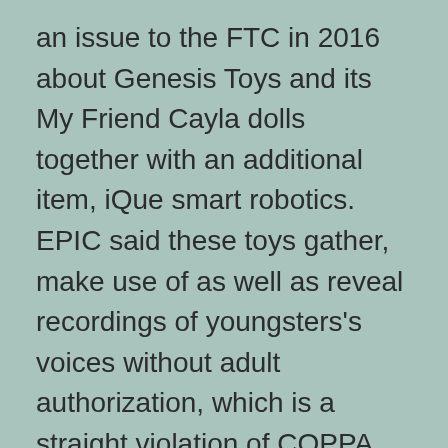an issue to the FTC in 2016 about Genesis Toys and its My Friend Cayla dolls together with an additional item, iQue smart robotics. EPIC said these toys gather, make use of as well as reveal recordings of youngsters's voices without adult authorization, which is a straight violation of COPPA, according to the problem record filed.
Artificial intelligence is very essential to society, whether we like it or otherwise. It's mosting likely to be gradually more vital to play. Richard Gottlieb, Chief Executive Officer of Global Plaything Exports.